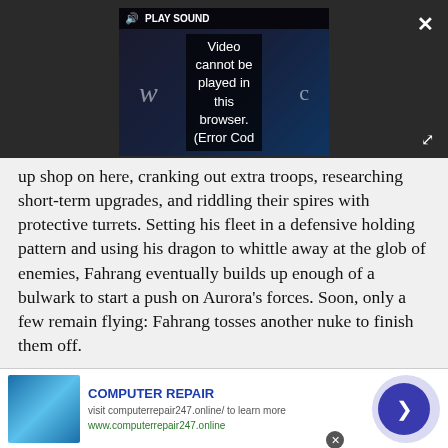[Figure (screenshot): Video player overlay showing error message: 'Video cannot be played in this browser. (Error Cod' with PLAY SOUND button and dark atmospheric background with letter W and C visible]
up shop on here, cranking out extra troops, researching short-term upgrades, and riddling their spires with protective turrets. Setting his fleet in a defensive holding pattern and using his dragon to whittle away at the glob of enemies, Fahrang eventually builds up enough of a bulwark to start a push on Aurora's forces. Soon, only a few remain flying: Fahrang tosses another nuke to finish them off.
Back on the ship, he's free to move into the captured territory. But there's little time to gloat: he's called
[Figure (screenshot): Advertisement banner for COMPUTER REPAIR - visit computerrepair247.online/ to learn more, www.computerrepair247.online, with image of hand on keyboard and blue arrow button]